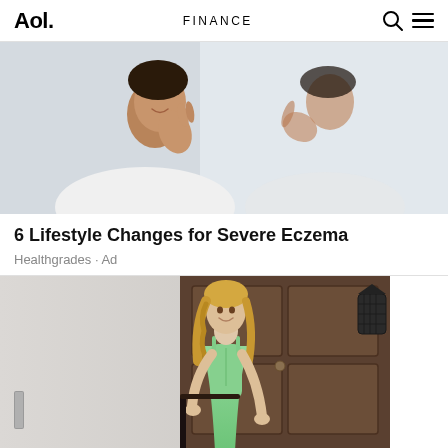Aol. | FINANCE
[Figure (photo): Woman in white top touching her face and looking in a mirror, skincare related image]
6 Lifestyle Changes for Severe Eczema
Healthgrades · Ad
[Figure (photo): Blonde woman in a mint green dress standing in a doorway with a dark wooden door and decorative lantern]